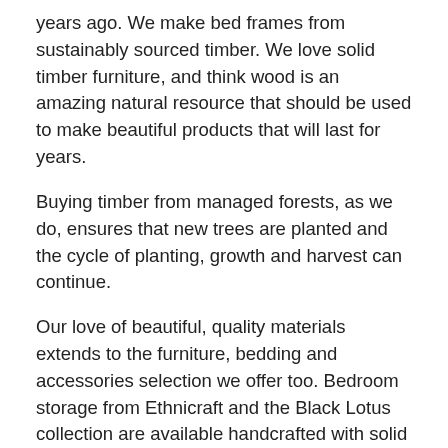years ago. We make bed frames from sustainably sourced timber. We love solid timber furniture, and think wood is an amazing natural resource that should be used to make beautiful products that will last for years.
Buying timber from managed forests, as we do, ensures that new trees are planted and the cycle of planting, growth and harvest can continue.
Our love of beautiful, quality materials extends to the furniture, bedding and accessories selection we offer too. Bedroom storage from Ethnicraft and the Black Lotus collection are available handcrafted with solid oak or walnut, and we have a huge bedding range in natural washed linen, cotton and silk.  Luxury towels, slippers, candles and toiletries ensure that the pampering extends beyond the bedroom, and that you'll be sure to find the perfect treat for you or your friends.